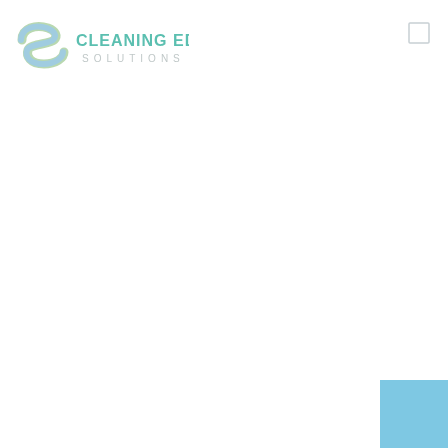[Figure (logo): Cleaning Edge Solutions logo: a stylized 3D 'S' shape in green and blue tones on the left, with 'CLEANING EDGE' in teal/green bold text and 'SOLUTIONS' in light gray spaced letters below.]
[Figure (other): Small rectangle outline icon (hamburger/menu icon) in light gray, top right corner.]
[Figure (other): Solid light blue square in the bottom right corner of the page.]